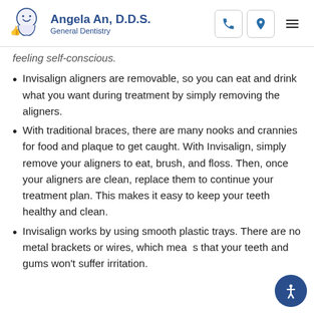Angela An, D.D.S. General Dentistry
feeling self-conscious.
Invisalign aligners are removable, so you can eat and drink what you want during treatment by simply removing the aligners.
With traditional braces, there are many nooks and crannies for food and plaque to get caught. With Invisalign, simply remove your aligners to eat, brush, and floss. Then, once your aligners are clean, replace them to continue your treatment plan. This makes it easy to keep your teeth healthy and clean.
Invisalign works by using smooth plastic trays. There are no metal brackets or wires, which means that your teeth and gums won't suffer irritation.